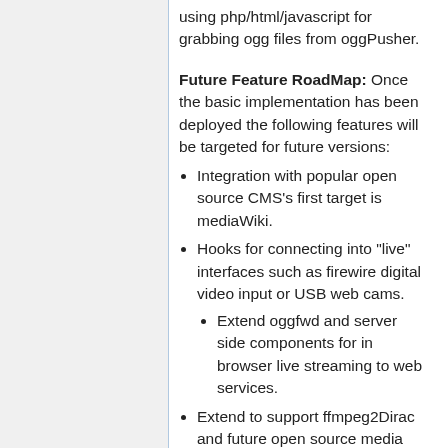using php/html/javascript for grabbing ogg files from oggPusher.
Future Feature RoadMap: Once the basic implementation has been deployed the following features will be targeted for future versions:
Integration with popular open source CMS's first target is mediaWiki.
Hooks for connecting into "live" interfaces such as firewire digital video input or USB web cams.
Extend oggfwd and server side components for in browser live streaming to web services.
Extend to support ffmpeg2Dirac and future open source media codecs.
Enable javascript hooks for grabbing highquality jpg or png screen grabs